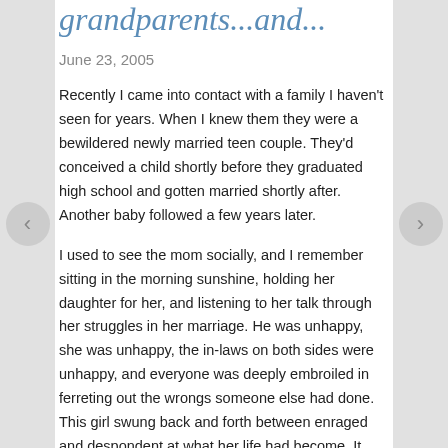grandparents...and...
June 23, 2005
Recently I came into contact with a family I haven't seen for years. When I knew them they were a bewildered newly married teen couple. They'd conceived a child shortly before they graduated high school and gotten married shortly after. Another baby followed a few years later.
I used to see the mom socially, and I remember sitting in the morning sunshine, holding her daughter for her, and listening to her talk through her struggles in her marriage. He was unhappy, she was unhappy, the in-laws on both sides were unhappy, and everyone was deeply embroiled in ferreting out the wrongs someone else had done. This girl swung back and forth between enraged and despondent at what her life had become. It was all her fault...it was all his fault...it was all their fault...it was just all wrong.